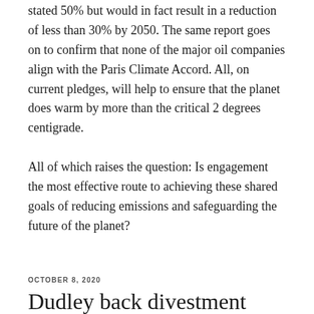stated 50% but would in fact result in a reduction of less than 30% by 2050. The same report goes on to confirm that none of the major oil companies align with the Paris Climate Accord. All, on current pledges, will help to ensure that the planet does warm by more than the critical 2 degrees centigrade.
All of which raises the question: Is engagement the most effective route to achieving these shared goals of reducing emissions and safeguarding the future of the planet?
OCTOBER 8, 2020
Dudley back divestment
In October 2019 Dudley Council voted unanimously to end fossil fuel investment by WMPF, the West Midlands